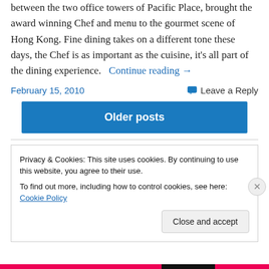between the two office towers of Pacific Place, brought the award winning Chef and menu to the gourmet scene of Hong Kong. Fine dining takes on a different tone these days, the Chef is as important as the cuisine, it's all part of the dining experience. Continue reading →
February 15, 2010
Leave a Reply
Older posts
Privacy & Cookies: This site uses cookies. By continuing to use this website, you agree to their use.
To find out more, including how to control cookies, see here: Cookie Policy
Close and accept